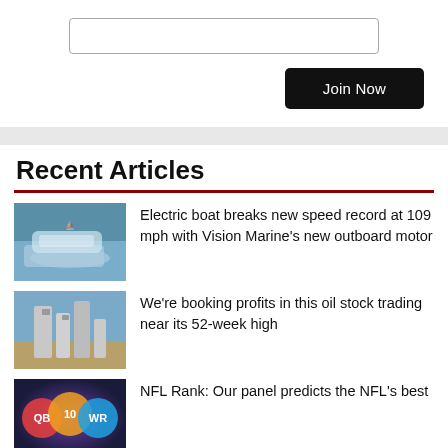[Figure (other): Text input box (empty)]
Join Now
Recent Articles
[Figure (photo): Electric boat speeding on water]
Electric boat breaks new speed record at 109 mph with Vision Marine's new outboard motor
[Figure (photo): Industrial oil facility with tanks and towers]
We're booking profits in this oil stock trading near its 52-week high
[Figure (photo): NFL players collage graphic]
NFL Rank: Our panel predicts the NFL's best